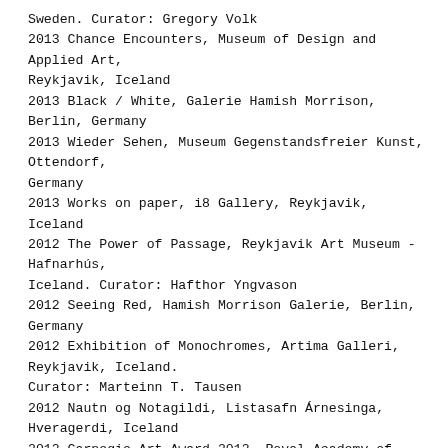Sweden. Curator: Gregory Volk
2013 Chance Encounters, Museum of Design and Applied Art, Reykjavik, Iceland
2013 Black / White, Galerie Hamish Morrison, Berlin, Germany
2013 Wieder Sehen, Museum Gegenstandsfreier Kunst, Ottendorf, Germany
2013 Works on paper, i8 Gallery, Reykjavik, Iceland
2012 The Power of Passage, Reykjavik Art Museum - Hafnarhús, Iceland. Curator: Hafthor Yngvason
2012 Seeing Red, Hamish Morrison Galerie, Berlin, Germany
2012 Exhibition of Monochromes, Artima Galleri, Reykjavik, Iceland. Curator: Marteinn T. Tausen
2012 Nautn og Notagildi, Listasafn Árnesinga, Hveragerdi, Iceland
2012 Carnegie Art Award 2012, Royal Academy of Fine Art, Stockholm, Amos Anderson Museum, Helsinki, Finland
2012 Sophienholm Lyngby, Copenhagen, Denmark
2011 Outdoor Excursions, Burlington City Arts, Vermont, USA. Curator: Gregory Volk
2011 Birgir Andrésson and Friends, Hafnarborg, Hafnarfjördur, Iceland
2011 Rolling Snoball 2 Quan Zhou, Quan Zhou, China